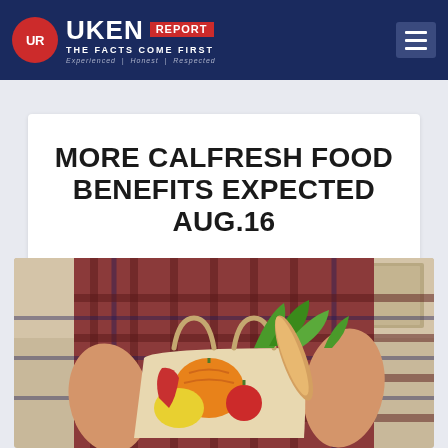UKEN REPORT — THE FACTS COME FIRST | Experienced | Honest | Respected
MORE CALFRESH FOOD BENEFITS EXPECTED AUG.16
Posted by Cindy Uken | Aug 13, 2020 | Health, News, Valley Life
[Figure (photo): Person holding grocery bag full of fresh vegetables and bread in a kitchen]